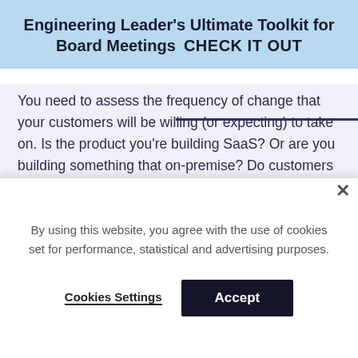Engineering Leader's Ultimate Toolkit for Board Meetings  CHECK IT OUT
You need to assess the frequency of change that your customers will be willing (or expecting) to take on. Is the product you're building SaaS? Or are you building something that on-premise? Do customers expect you to constantly build new features and update the product for them, or would that place an undue burden and drive them away? Know the backgrounds of the engineering leaders you speak with and make sure that their former experience aligns with the speed of change expected at your
By using this website, you agree with the use of cookies set for performance, statistical and advertising purposes.
Cookies Settings
Accept